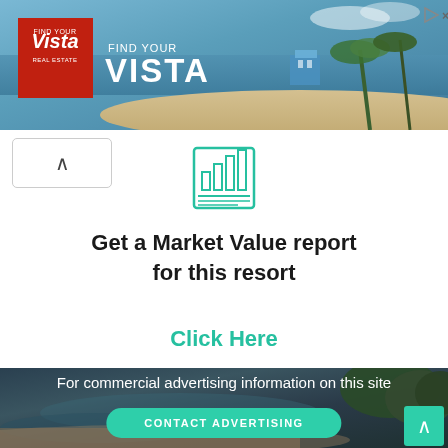[Figure (photo): Vista Real Estate advertisement banner with beach resort background, showing logo and 'Find Your Vista' text]
[Figure (logo): Chart/report icon in teal outline style]
Get a Market Value report for this resort
Click Here
[Figure (photo): Dark beach resort background with tropical vegetation and water]
For commercial advertising information on this site
CONTACT ADVERTISING